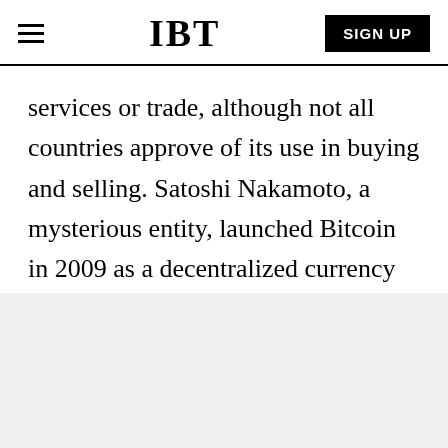IBT | SIGN UP
services or trade, although not all countries approve of its use in buying and selling. Satoshi Nakamoto, a mysterious entity, launched Bitcoin in 2009 as a decentralized currency that follows the ideas outlined in its white paper. The identity of Bitcoin creators is still unknown.